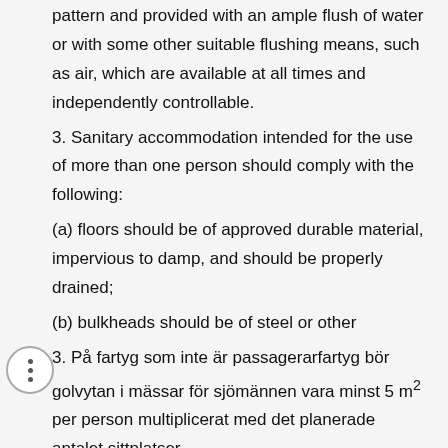pattern and provided with an ample flush of water or with some other suitable flushing means, such as air, which are available at all times and independently controllable.
3. Sanitary accommodation intended for the use of more than one person should comply with the following:
(a) floors should be of approved durable material, impervious to damp, and should be properly drained;
(b) bulkheads should be of steel or other
3. På fartyg som inte är passagerarfartyg bör golvytan i mässar för sjömännen vara minst 5 m² per person multiplicerat med det planerade antalet sittplatser.
4. På alla fartyg bör mässar vara försedda